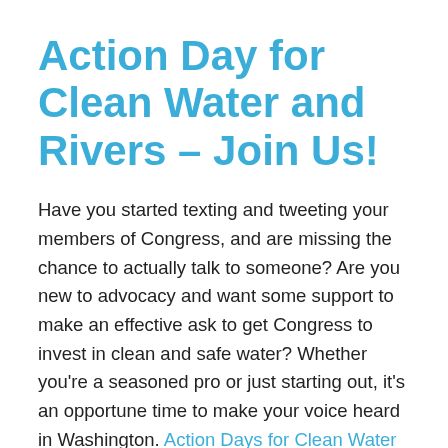Action Day for Clean Water and Rivers – Join Us!
Have you started texting and tweeting your members of Congress, and are missing the chance to actually talk to someone? Are you new to advocacy and want some support to make an effective ask to get Congress to invest in clean and safe water? Whether you're a seasoned pro or just starting out, it's an opportune time to make your voice heard in Washington. Action Days for Clean Water and Rivers on April 27-29 is a great chance to join up with others and take our